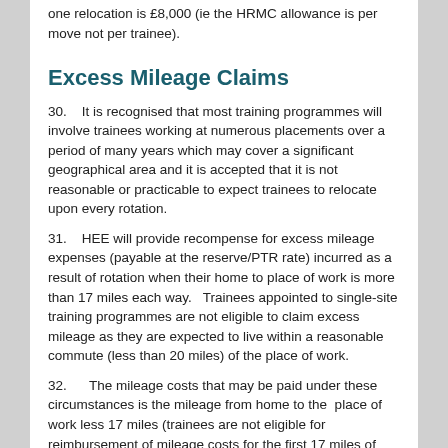one relocation is £8,000 (ie the HRMC allowance is per move not per trainee).
Excess Mileage Claims
30.    It is recognised that most training programmes will involve trainees working at numerous placements over a period of many years which may cover a significant geographical area and it is accepted that it is not reasonable or practicable to expect trainees to relocate upon every rotation.
31.    HEE will provide recompense for excess mileage expenses (payable at the reserve/PTR rate) incurred as a result of rotation when their home to place of work is more than 17 miles each way.   Trainees appointed to single-site training programmes are not eligible to claim excess mileage as they are expected to live within a reasonable commute (less than 20 miles) of the place of work.
32.      The mileage costs that may be paid under these circumstances is the mileage from home to the  place of work less 17 miles (trainees are not eligible for reimbursement of mileage costs for the first 17 miles of